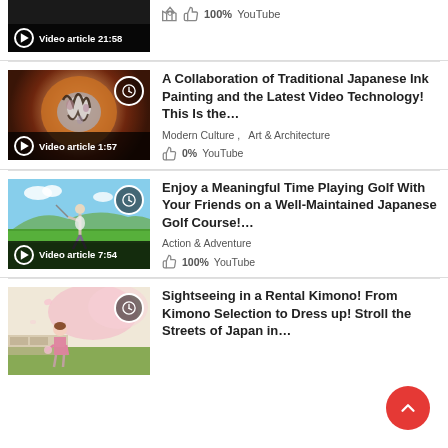[Figure (screenshot): Video thumbnail with play button, labeled 'Video article 21:58', thumbs up 100%, YouTube]
100%   YouTube
[Figure (photo): Thumbnail of Japanese ink painting video with clock icon, Video article 1:57]
A Collaboration of Traditional Japanese Ink Painting and the Latest Video Technology! This Is the…
Modern Culture ,   Art & Architecture
0%   YouTube
[Figure (photo): Thumbnail of golfer on Japanese golf course, Video article 7:54]
Enjoy a Meaningful Time Playing Golf With Your Friends on a Well-Maintained Japanese Golf Course!…
Action & Adventure
100%   YouTube
[Figure (photo): Thumbnail of child in kimono near cherry blossoms, clock icon]
Sightseeing in a Rental Kimono! From Kimono Selection to Dress up! Stroll the Streets of Japan in…